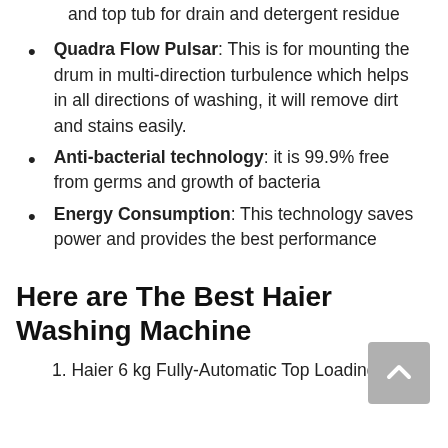and top tub for drain and detergent residue
Quadra Flow Pulsar: This is for mounting the drum in multi-direction turbulence which helps in all directions of washing, it will remove dirt and stains easily.
Anti-bacterial technology: it is 99.9% free from germs and growth of bacteria
Energy Consumption: This technology saves power and provides the best performance
Here are The Best Haier Washing Machine
1. Haier 6 kg Fully-Automatic Top Loading